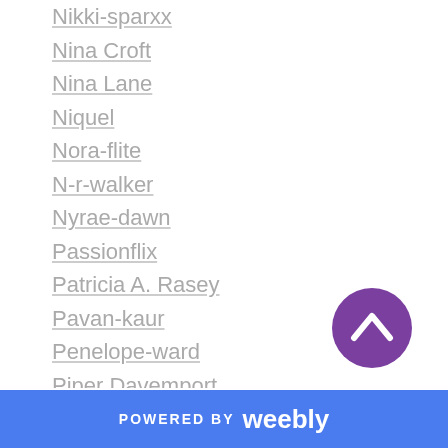Nikki-sparxx
Nina Croft
Nina Lane
Niquel
Nora-flite
N-r-walker
Nyrae-dawn
Passionflix
Patricia A. Rasey
Pavan-kaur
Penelope-ward
Piper Davemport
Piper-davenport
Piper Lawson
Piper Rayne
Poppy-dunne
Posy-roberts
[Figure (illustration): Purple circle button with upward chevron arrow for scrolling to top]
POWERED BY weebly